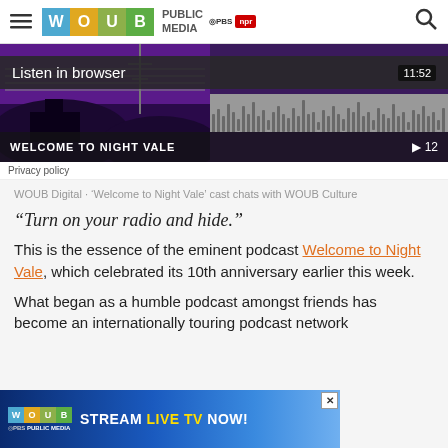WOUB Public Media — navigation bar with hamburger menu, WOUB logo, PUBLIC MEDIA, PBS, NPR, and search icon
[Figure (screenshot): Audio podcast player for Welcome to Night Vale showing 'Listen in browser' overlay, waveform, timestamp 11:52, and play button with count 12]
Privacy policy
WOUB Digital · 'Welcome to Night Vale' cast chats with WOUB Culture
“Turn on your radio and hide.”
This is the essence of the eminent podcast Welcome to Night Vale, which celebrated its 10th anniversary earlier this week.
What began as a humble podcast amongst friends has become an internationally touring podcast network
[Figure (screenshot): WOUB Public Media advertisement banner: WOUB logo with PBS badge, text reading STREAM LIVE TV NOW! on blue gradient background with X close button]